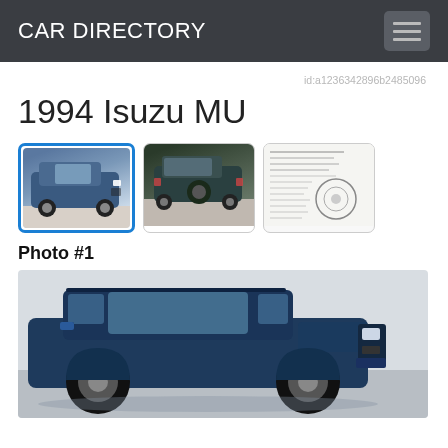CAR DIRECTORY
id:a1236342896b2485096
1994 Isuzu MU
[Figure (photo): Three thumbnail images of the 1994 Isuzu MU: front view (active/selected with blue border), rear view, and a document/schematic page]
Photo #1
[Figure (photo): Large main photo of a dark blue 1994 Isuzu MU SUV, front three-quarter view, parked indoors against a light grey/white wall]